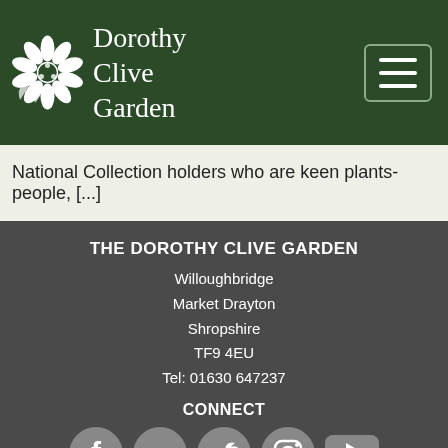[Figure (logo): Dorothy Clive Garden logo with white flower illustration and text]
National Collection holders who are keen plants-people, [...]
THE DOROTHY CLIVE GARDEN
Willoughbridge
Market Drayton
Shropshire
TF9 4EU
Tel: 01630 647237
CONNECT
[Figure (infographic): Social media icons: Facebook, Google+, Twitter, Instagram, YouTube]
LINKS